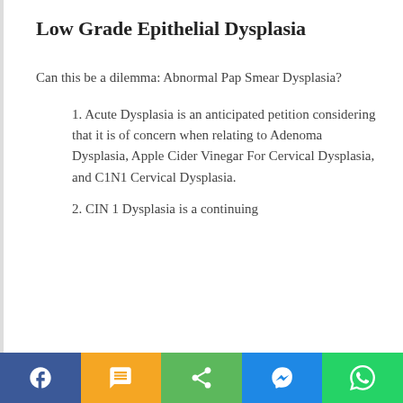Low Grade Epithelial Dysplasia
Can this be a dilemma: Abnormal Pap Smear Dysplasia?
1. Acute Dysplasia is an anticipated petition considering that it is of concern when relating to Adenoma Dysplasia, Apple Cider Vinegar For Cervical Dysplasia, and C1N1 Cervical Dysplasia.
2. CIN 1 Dysplasia is a continuing